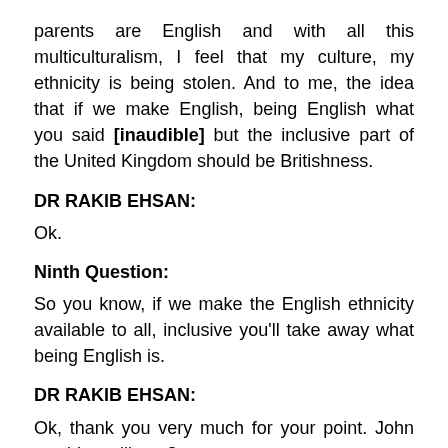parents are English and with all this multiculturalism, I feel that my culture, my ethnicity is being stolen. And to me, the idea that if we make English, being English what you said [inaudible] but the inclusive part of the United Kingdom should be Britishness.
DR RAKIB EHSAN:
Ok.
Ninth Question:
So you know, if we make the English ethnicity available to all, inclusive you'll take away what being English is.
DR RAKIB EHSAN:
Ok, thank you very much for your point. John would you like to?